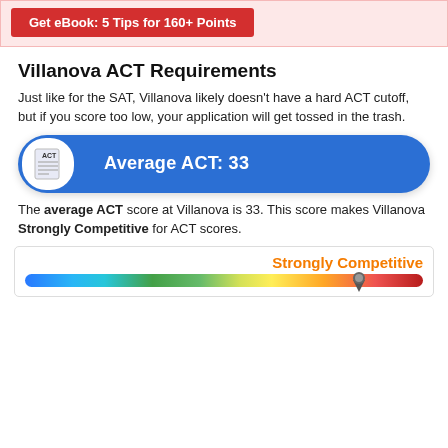[Figure (infographic): Red button banner: 'Get eBook: 5 Tips for 160+ Points' on pink/red background]
Villanova ACT Requirements
Just like for the SAT, Villanova likely doesn't have a hard ACT cutoff, but if you score too low, your application will get tossed in the trash.
[Figure (infographic): Blue pill-shaped bar with ACT icon and text 'Average ACT: 33']
The average ACT score at Villanova is 33. This score makes Villanova Strongly Competitive for ACT scores.
[Figure (infographic): Competitiveness gradient bar from blue to red with marker near orange-red area labeled 'Strongly Competitive']